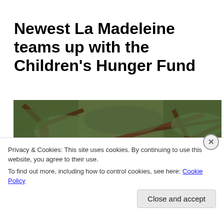Newest La Madeleine teams up with the Children's Hunger Fund
[Figure (photo): Outdoor photo of large trees with bare/sparse branches against a grey sky, with a building visible below and a red banner at the bottom edge]
Privacy & Cookies: This site uses cookies. By continuing to use this website, you agree to their use.
To find out more, including how to control cookies, see here: Cookie Policy
Close and accept